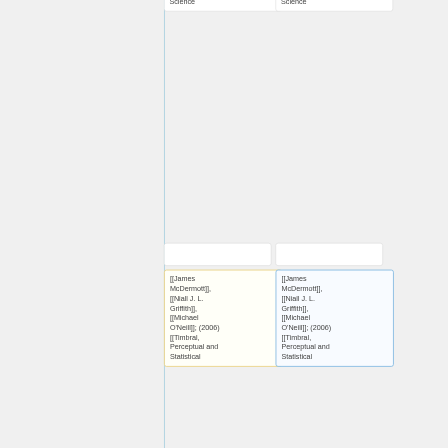Brabazon]]; [[Michael O'Neill]]; (2006) Classification using the SOSwarm algorithm. Third International Conference on Computational Management Science
Brabazon]]; [[Michael O'Neill]]; (2006) Classification using the SOSwarm algorithm. Third International Conference on Computational Management Science
[[James McDermott]], [[Niall J. L. Griffith]], [[Michael O'Neill]]; (2006) [[Timbral, Perceptual and Statistical
[[James McDermott]], [[Niall J. L. Griffith]], [[Michael O'Neill]]; (2006) [[Timbral, Perceptual and Statistical